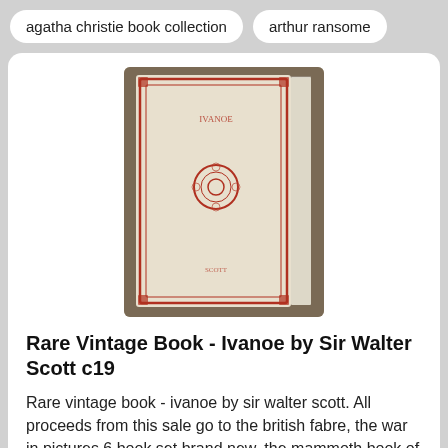agatha christie book collection
arthur ransome
[Figure (photo): Photo of an old vintage book cover, cream/beige colored with decorative red border and a circular red ornamental stamp in the center, with faded text reading 'IVANOE' at the top and small text at the bottom, set against a dark wooden background.]
Rare Vintage Book - Ivanoe by Sir Walter Scott c19
Rare vintage book - ivanoe by sir walter scott. All proceeds from this sale go to the british fabre, the war in pictures 6 book set brand new. the mammoth book of thrillers, all proceeds from this sale go to the british